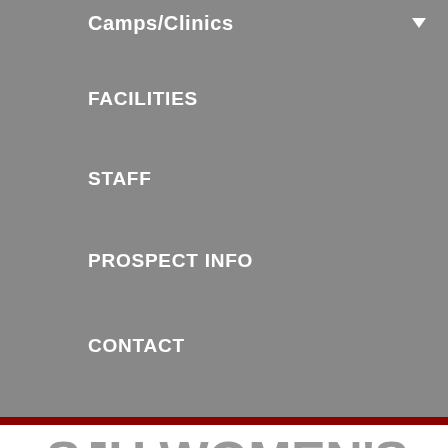Camps/Clinics
FACILITIES
STAFF
PROSPECT INFO
CONTACT
SJU WOMEN'S LACROSSE COACHES CLINIC
SJU Women's Lacrosse Coaches Clinic